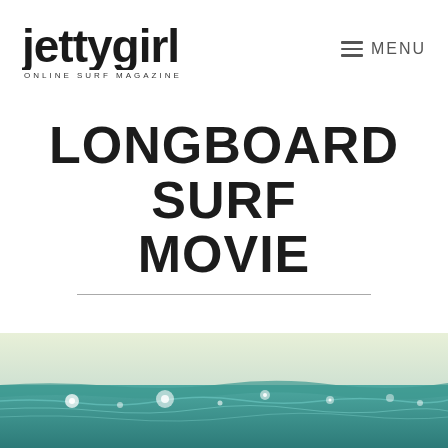JETTYgirl ONLINE SURF MAGAZINE — MENU
LONGBOARD SURF MOVIE
[Figure (photo): Ocean water scene with gentle waves and bokeh light reflections on the water surface, teal and cream tones]